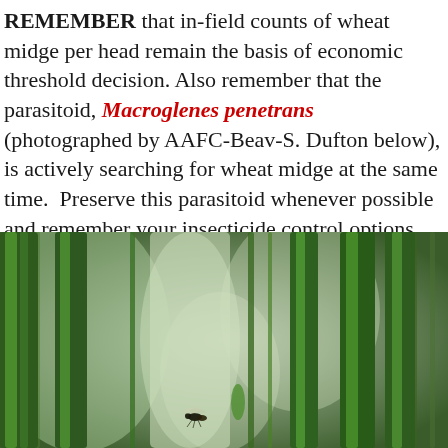REMEMBER that in-field counts of wheat midge per head remain the basis of economic threshold decision. Also remember that the parasitoid, Macroglenes penetrans (photographed by AAFC-Beav-S. Dufton below), is actively searching for wheat midge at the same time. Preserve this parasitoid whenever possible and remember your insecticide control options for wheat midge also kill these beneficial insects which help reduce midge populations.
[Figure (photo): Close-up photograph of wheat stems (green stalks) with a small insect (Macroglenes penetrans parasitoid wasp) visible among the wheat plants. The background is blurred green vegetation.]